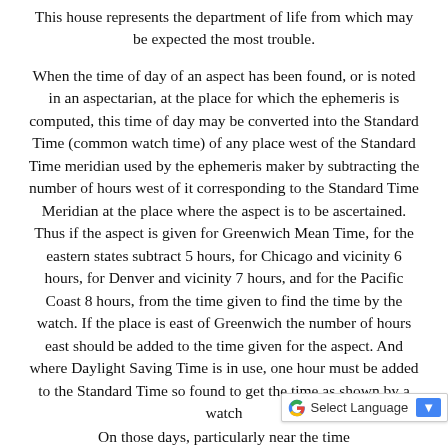This house represents the department of life from which may be expected the most trouble.
When the time of day of an aspect has been found, or is noted in an aspectarian, at the place for which the ephemeris is computed, this time of day may be converted into the Standard Time (common watch time) of any place west of the Standard Time meridian used by the ephemeris maker by subtracting the number of hours west of it corresponding to the Standard Time Meridian at the place where the aspect is to be ascertained. Thus if the aspect is given for Greenwich Mean Time, for the eastern states subtract 5 hours, for Chicago and vicinity 6 hours, for Denver and vicinity 7 hours, and for the Pacific Coast 8 hours, from the time given to find the time by the watch. If the place is east of Greenwich the number of hours east should be added to the time given for the aspect. And where Daylight Saving Time is in use, one hour must be added to the Standard Time so found to get the time as shown by a watch.
On those days, particularly near the time...